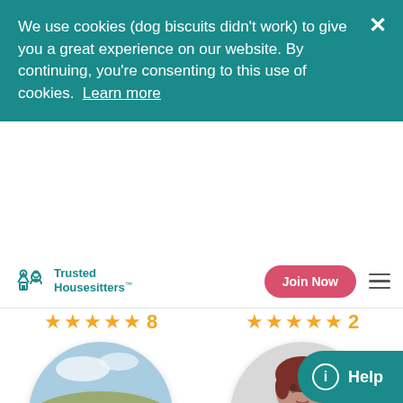We use cookies (dog biscuits didn't work) to give you a great experience on our website. By continuing, you're consenting to this use of cookies.  Learn more
[Figure (screenshot): Trusted Housesitters website screenshot showing cookie consent banner, navigation bar with logo and Join Now button, star ratings, and two sitter profile cards for Bredagh & Conor and Cath]
Trusted Housesitters
Join Now
8
2
Bredagh & Conor
Cath
Help